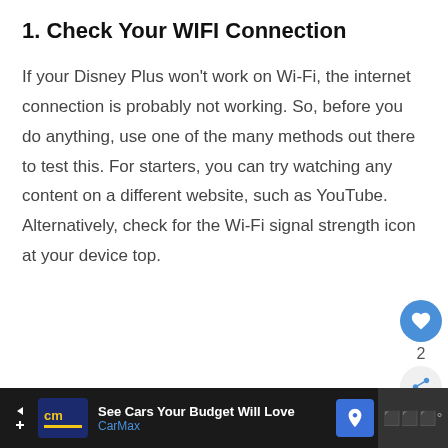1. Check Your WIFI Connection
If your Disney Plus won't work on Wi-Fi, the internet connection is probably not working. So, before you do anything, use one of the many methods out there to test this. For starters, you can try watching any content on a different website, such as YouTube. Alternatively, check for the Wi-Fi signal strength icon at your device top.